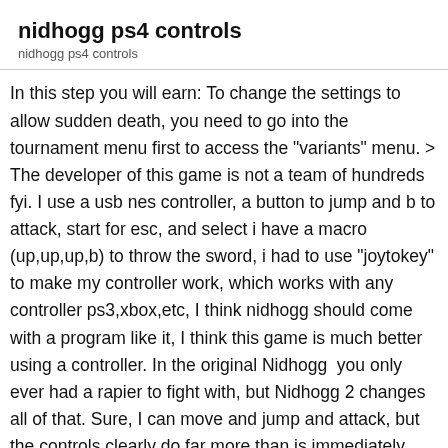nidhogg ps4 controls
nidhogg ps4 controls
In this step you will earn: To change the settings to allow sudden death, you need to go into the tournament menu first to access the "variants" menu. > The developer of this game is not a team of hundreds fyi. I use a usb nes controller, a button to jump and b to attack, start for esc, and select i have a macro (up,up,up,b) to throw the sword, i had to use "joytokey" to make my controller work, which works with any controller ps3,xbox,etc, I think nidhogg should come with a program like it, I think this game is much better using a controller. In the original Nidhogg  you only ever had a rapier to fight with, but Nidhogg 2 changes all of that. Sure, I can move and jump and attack, but the controls clearly do far more than is immediately apparent; for instance, holding up and pressing attack will throw your sword. You must win the face off in the first area and never be killed